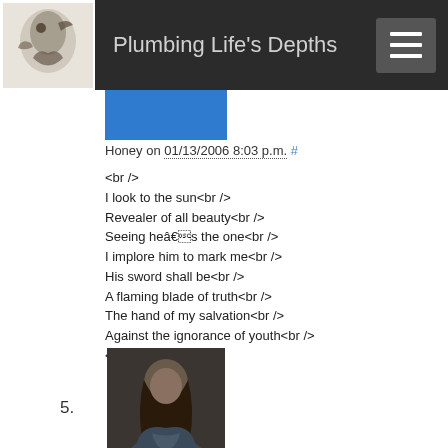Plumbing Life's Depths
Honey on 01/13/2006 8:03 p.m. #
<br />
I look to the sun<br />
Revealer of all beauty<br />
Seeing heâs the one<br />
I implore him to mark me<br />
His sword shall be<br />
A flaming blade of truth<br />
The hand of my salvation<br />
Against the ignorance of youth<br />
<br />
Mike Fletcher on 01/13/2006 10:40 p.m. #
They call you ignorant<br />